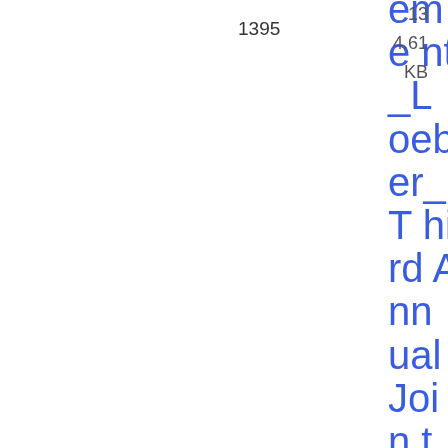1395
Statement_Loeber_Third Annual Joint Deutsche Bundesbank, European Central Bank and Federal
13
4.61 KB